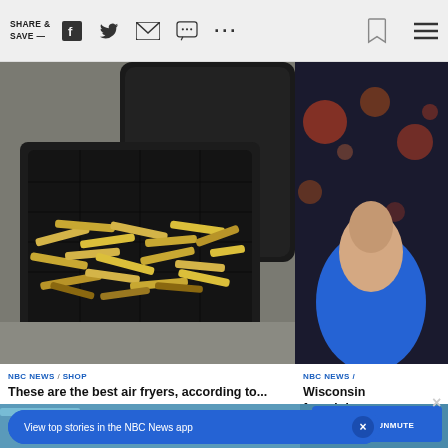SHARE & SAVE —
[Figure (photo): Air fryer basket filled with french fries on a kitchen counter, with the black air fryer appliance visible in the background]
[Figure (photo): Partial view of a person wearing blue, with bokeh lights in background — right side article thumbnail]
NBC NEWS / SHOP
These are the best air fryers, according to...
NBC NEWS /
Wisconsin found dea
[Figure (screenshot): Bottom video area showing icy/glacial water surface with a 'TAP TO UNMUTE' button overlay and an X close button]
View top stories in the NBC News app